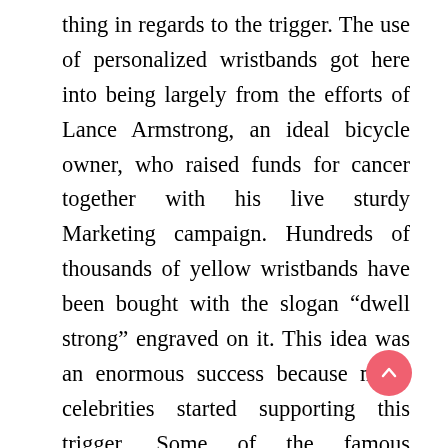thing in regards to the trigger. The use of personalized wristbands got here into being largely from the efforts of Lance Armstrong, an ideal bicycle owner, who raised funds for cancer together with his live sturdy Marketing campaign. Hundreds of thousands of yellow wristbands have been bought with the slogan “dwell strong” engraved on it. This idea was an enormous success because many celebrities started supporting this trigger. Some of the famous celebrities Rock Star Bono and others wore white silicone personalised wristband to help “Make Historical past” marketing campaign.